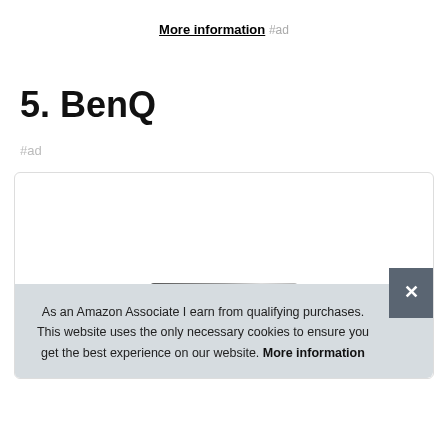More information #ad
5. BenQ
#ad
As an Amazon Associate I earn from qualifying purchases. This website uses the only necessary cookies to ensure you get the best experience on our website. More information